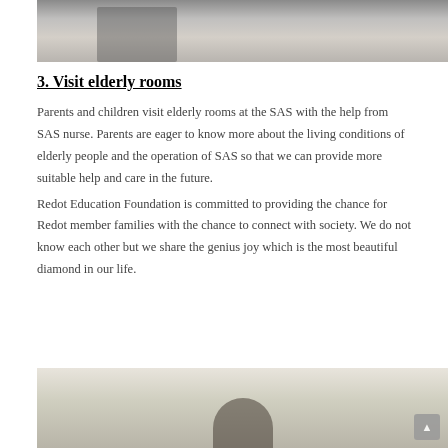[Figure (photo): Top portion of a photo showing a wheelchair and a child standing next to it in what appears to be a care facility.]
3. Visit elderly rooms
Parents and children visit elderly rooms at the SAS with the help from SAS nurse. Parents are eager to know more about the living conditions of elderly people and the operation of SAS so that we can provide more suitable help and care in the future.
Redot Education Foundation is committed to providing the chance for Redot member families with the chance to connect with society. We do not know each other but we share the genius joy which is the most beautiful diamond in our life.
[Figure (photo): Bottom portion of a photo showing an interior of what appears to be a care facility with ceiling fans, curtains, and people visible.]